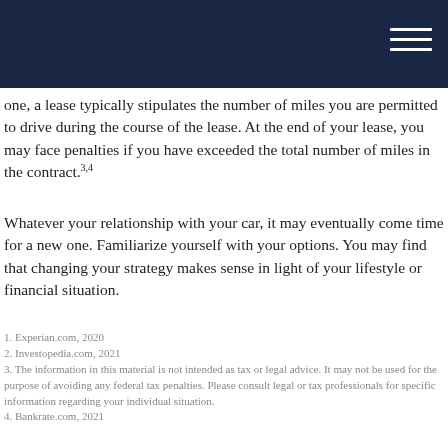one, a lease typically stipulates the number of miles you are permitted to drive during the course of the lease. At the end of your lease, you may face penalties if you have exceeded the total number of miles in the contract.3,4
Whatever your relationship with your car, it may eventually come time for a new one. Familiarize yourself with your options. You may find that changing your strategy makes sense in light of your lifestyle or financial situation.
1. Experian.com, 2020
2. Investopedia.com, 2021
3. The information in this material is not intended as tax or legal advice. It may not be used for the purpose of avoiding any federal tax penalties. Please consult legal or tax professionals for specific information regarding your individual situation.
4. Bankrate.com, 2021
The content is developed from sources believed to be providing accurate information. The information in this material is not intended as tax or legal advice. It may not be used for the purpose of avoiding any federal tax penalties. Please consult legal or tax professionals for